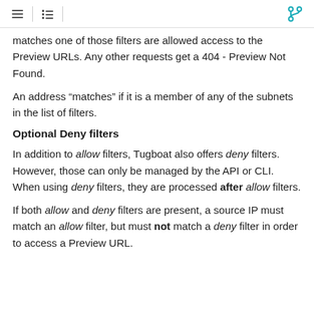Navigation menu and branch icons
matches one of those filters are allowed access to the Preview URLs. Any other requests get a 404 - Preview Not Found.
An address “matches” if it is a member of any of the subnets in the list of filters.
Optional Deny filters
In addition to allow filters, Tugboat also offers deny filters. However, those can only be managed by the API or CLI. When using deny filters, they are processed after allow filters.
If both allow and deny filters are present, a source IP must match an allow filter, but must not match a deny filter in order to access a Preview URL.